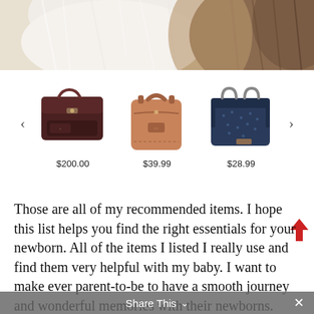[Figure (photo): Close-up photo of white and brown animal fur]
[Figure (photo): Product carousel showing three diaper bags with navigation arrows and prices: dark brown bag $200.00, tan leather backpack $39.99, navy blue bag $28.99]
Those are all of my recommended items. I hope this list helps you find the right essentials for your newborn. All of the items I listed I really use and find them very helpful with my baby. I want to make ever parent-to-be to have a smooth journey and wonderful memories with their newborns. That's why I wanted to
Share This ✓ ×